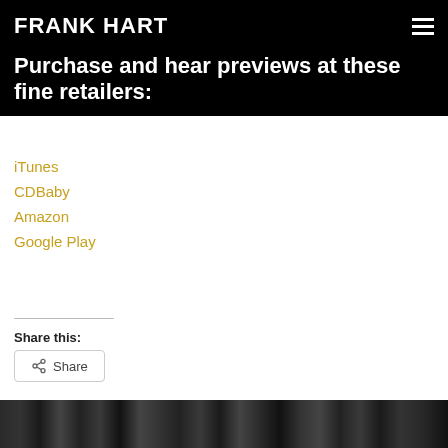FRANK HART
Purchase and hear previews at these fine retailers:
iTunes
CDBaby
Amazon
Google Play
Share this:
Share
[Figure (photo): Black and white photo visible at the bottom of the page]